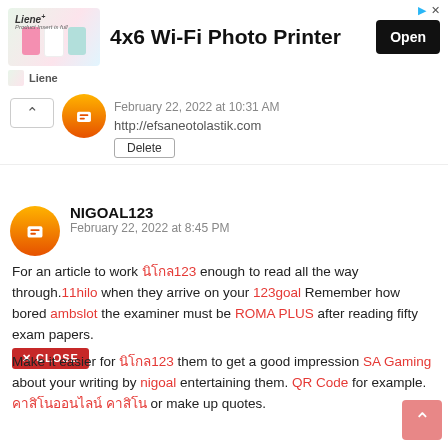[Figure (screenshot): Advertisement banner for Liene 4x6 Wi-Fi Photo Printer with Open button]
February 22, 2022 at 10:31 AM
http://efsaneotolastik.com
Delete
NIGOAL123
February 22, 2022 at 8:45 PM
For an article to work นิโกล123 enough to read all the way through. 11hilo when they arrive on your 123goal Remember how bored ambslot the examiner must be ROMA PLUS after reading fifty exam papers.
Make it easier for นิโกล123 them to get a good impression SA Gaming about your writing by nigoal entertaining them. QR Code for example. คาสิโนออนไลน์ คาสิโน or make up quotes.